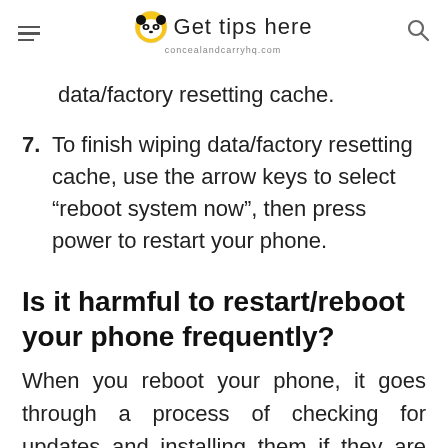Get tips here — concealandcarryhq.com
data/factory resetting cache.
7. To finish wiping data/factory resetting cache, use the arrow keys to select “reboot system now”, then press power to restart your phone.
Is it harmful to restart/reboot your phone frequently?
When you reboot your phone, it goes through a process of checking for updates and installing them if they are available. This